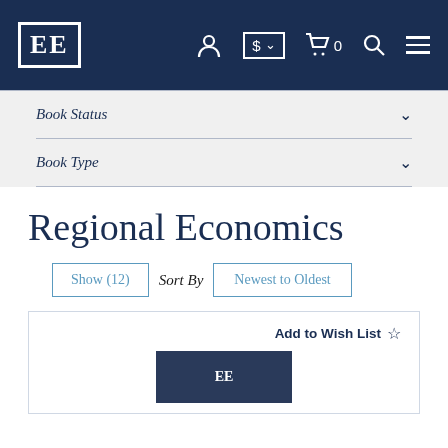[Figure (screenshot): Edward Elgar publisher website navigation bar with EE logo, user account icon, currency selector, cart (0), search, and menu icons on dark navy background]
Book Status
Book Type
Regional Economics
Show (12)
Sort By
Newest to Oldest
Add to Wish List ☆